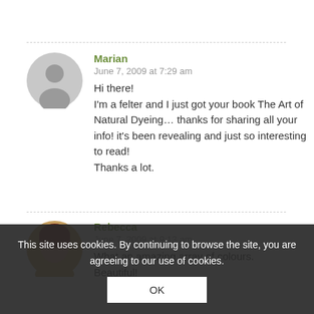Marian
June 7, 2009 at 7:29 am
Hi there!
I'm a felter and I just got your book The Art of Natural Dyeing… thanks for sharing all your info! it's been revealing and just so interesting to read!
Thanks a lot.
Rebecca
June 7, 2009 at 9:13 am
What an amazing array of colours.
Beautiful!
This site uses cookies. By continuing to browse the site, you are agreeing to our use of cookies.
OK